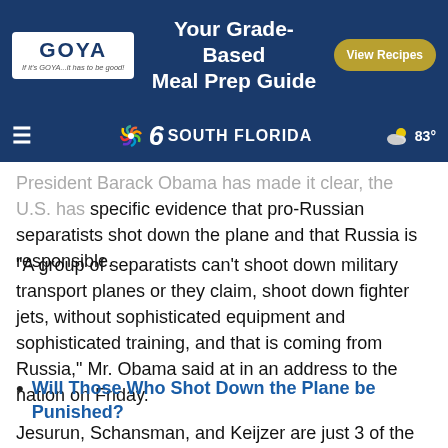[Figure (screenshot): Goya advertisement banner with logo and 'Your Grade-Based Meal Prep Guide' tagline and 'View Recipes' button]
≡  6 SOUTH FLORIDA  83°
President Barack Obama has made it clear, the U.S. has specific evidence that pro-Russian separatists shot down the plane and that Russia is responsible.
"A group of separatists can't shoot down military transport planes or they claim, shoot down fighter jets, without sophisticated equipment and sophisticated training, and that is coming from Russia," Mr. Obama said at in an address to the nation on Friday.
Will Those Who Shot Down the Plane be Punished?
Jesurun, Schansman, and Keijzer are just 3 of the 298 faces